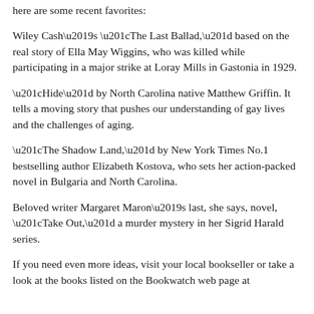here are some recent favorites:
Wiley Cash’s “The Last Ballad,” based on the real story of Ella May Wiggins, who was killed while participating in a major strike at Loray Mills in Gastonia in 1929.
“Hide” by North Carolina native Matthew Griffin. It tells a moving story that pushes our understanding of gay lives and the challenges of aging.
“The Shadow Land,” by New York Times No.1 bestselling author Elizabeth Kostova, who sets her action-packed novel in Bulgaria and North Carolina.
Beloved writer Margaret Maron’s last, she says, novel, “Take Out,” a murder mystery in her Sigrid Harald series.
If you need even more ideas, visit your local bookseller or take a look at the books listed on the Bookwatch web page at